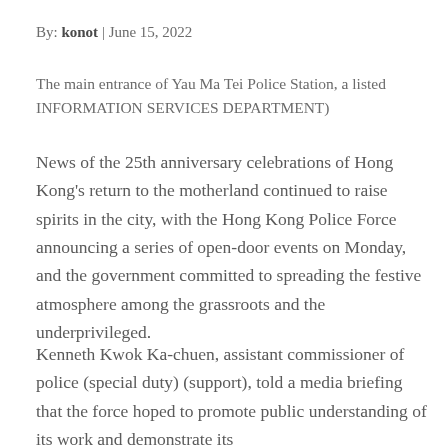By: konot | June 15, 2022
The main entrance of Yau Ma Tei Police Station, a listed INFORMATION SERVICES DEPARTMENT)
News of the 25th anniversary celebrations of Hong Kong’s return to the motherland continued to raise spirits in the city, with the Hong Kong Police Force announcing a series of open-door events on Monday, and the government committed to spreading the festive atmosphere among the grassroots and the underprivileged.
Kenneth Kwok Ka-chuen, assistant commissioner of police (special duty) (support), told a media briefing that the force hoped to promote public understanding of its work and demonstrate its